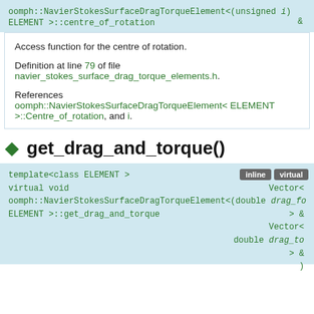oomph::NavierStokesSurfaceDragTorqueElement<(unsigned i) ELEMENT >::centre_of_rotation &
Access function for the centre of rotation.
Definition at line 79 of file navier_stokes_surface_drag_torque_elements.h.
References oomph::NavierStokesSurfaceDragTorqueElement< ELEMENT >::Centre_of_rotation, and i.
get_drag_and_torque()
template<class ELEMENT > virtual void Vector< oomph::NavierStokesSurfaceDragTorqueElement<(double drag_fo... ELEMENT >::get_drag_and_torque > & Vector< double drag_to... > & )